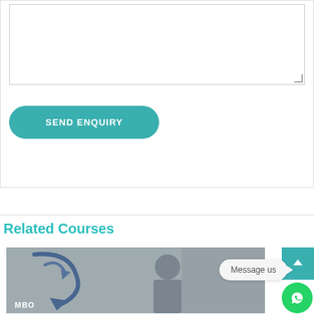[Figure (screenshot): A text area input field for entering enquiry message, with resize handle at bottom right]
[Figure (screenshot): A teal rounded button labeled SEND ENQUIRY]
Related Courses
[Figure (photo): Photo of a bald man with glasses speaking at a podium, with blue arrow graphics and MBO label in bottom left. Overlaid with a message bubble saying 'Message us' and a WhatsApp icon button.]